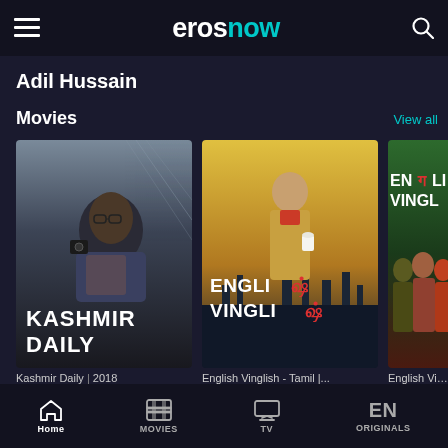erosnow
Adil Hussain
Movies
View all
[Figure (screenshot): Movie poster for Kashmir Daily (2018) — dark toned image of a man with glasses holding a camera, wire-frame graphic in background, text 'KASHMIR DAILY' at bottom]
Kashmir Daily | 2018
[Figure (screenshot): Movie poster for English Vinglish Tamil — golden-yellow toned image of a woman in suit holding a coffee cup against city skyline, text 'ENGLIश VINGLIश' at bottom]
English Vinglish - Tamil |...
[Figure (screenshot): Movie poster for English Vinglish — green background with group of actors, Hindi/English mixed title text 'ENगLISH VINGL' at top]
English Vinglish
Home   MOVIES   TV   ORIGINALS